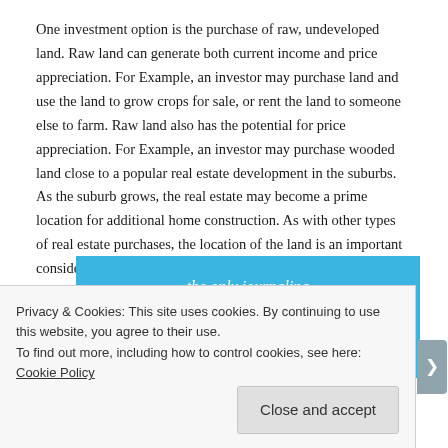One investment option is the purchase of raw, undeveloped land. Raw land can generate both current income and price appreciation. For Example, an investor may purchase land and use the land to grow crops for sale, or rent the land to someone else to farm. Raw land also has the potential for price appreciation. For Example, an investor may purchase wooded land close to a popular real estate development in the suburbs. As the suburb grows, the real estate may become a prime location for additional home construction. As with other types of real estate purchases, the location of the land is an important consideration.
[Figure (screenshot): Advertisement banner for a journaling app with blue background showing partial text 'the only journaling app you'll ever need.' and a 'Get the app' button]
Privacy & Cookies: This site uses cookies. By continuing to use this website, you agree to their use.
To find out more, including how to control cookies, see here: Cookie Policy
Close and accept